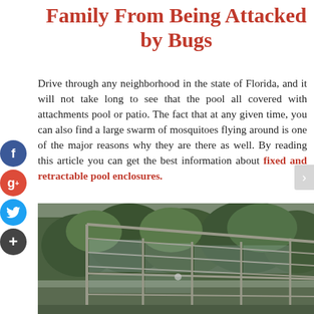Family From Being Attacked by Bugs
Drive through any neighborhood in the state of Florida, and it will not take long to see that the pool all covered with attachments pool or patio. The fact that at any given time, you can also find a large swarm of mosquitoes flying around is one of the major reasons why they are there as well. By reading this article you can get the best information about fixed and retractable pool enclosures.
[Figure (photo): Photograph of a pool enclosure structure with a glass/screen roof and walls, surrounded by trees in the background]